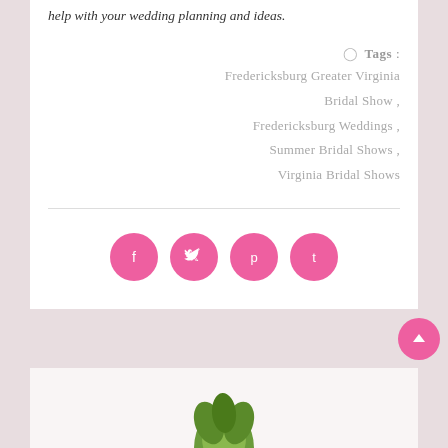help with your wedding planning and ideas.
Tags : Fredericksburg Greater Virginia Bridal Show , Fredericksburg Weddings , Summer Bridal Shows , Virginia Bridal Shows
[Figure (other): Four pink circular social media share buttons: Facebook, Twitter, Pinterest, Tumblr]
[Figure (photo): Partial image of a person or floral arrangement at the bottom of the page]